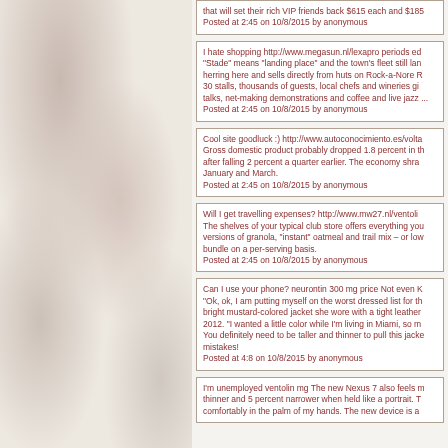that will set their rich VIP friends back $615 each and $185...
Posted at 2:45 on 10/8/2015 by anonymous
I hate shopping http://www.megasun.nl/lexapro periods ed... "Stade" means "landing place" and the town's fleet still lan... herring here and sells directly from huts on Rock-a-Nore R... 30 stalls, thousands of guests, local chefs and wineries gi... talks, net-making demonstrations and coffee and live jazz...
Posted at 2:45 on 10/8/2015 by anonymous
Cool site goodluck :) http://www.autoconocimiento.es/volta... Gross domestic product probably dropped 1.8 percent in th... after falling 2 percent a quarter earlier. The economy shra... January and March.
Posted at 2:45 on 10/8/2015 by anonymous
Will I get travelling expenses? http://www.mw27.nl/ventoli... The shelves of your typical club store offers everything you... versions of granola, "instant" oatmeal and trail mix – or low... bundle on a per-serving basis.
Posted at 2:45 on 10/8/2015 by anonymous
Can I use your phone? neurontin 300 mg price Not even K... "Ok, ok, I am putting myself on the worst dressed list for th... bright mustard-colored jacket she wore with a tight leather... 2012. "I wanted a little color while I'm living in Miami, so m... You definitely need to be taller and thinner to pull this jacke... mistakes!
Posted at 4:8 on 10/8/2015 by anonymous
I'm unemployed ventolin mg The new Nexus 7 also feels m... thinner and 5 percent narrower when held like a portrait. T... comfortably in the palm of my hands. The new device is a...